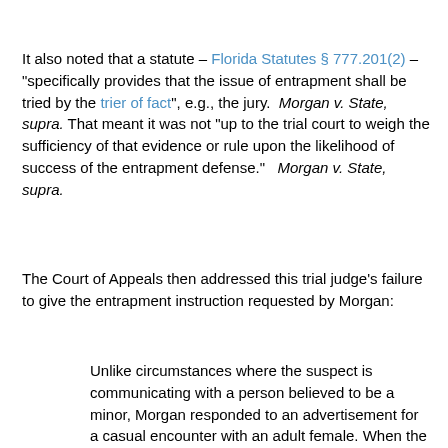It also noted that a statute – Florida Statutes § 777.201(2) – "specifically provides that the issue of entrapment shall be tried by the trier of fact", e.g., the jury.  Morgan v. State, supra. That meant it was not "up to the trial court to weigh the sufficiency of that evidence or rule upon the likelihood of success of the entrapment defense."   Morgan v. State, supra.
The Court of Appeals then addressed this trial judge's failure to give the entrapment instruction requested by Morgan:
Unlike circumstances where the suspect is communicating with a person believed to be a minor, Morgan responded to an advertisement for a casual encounter with an adult female. When the law enforcement officer interjected the prospect of including a minor, Morgan expressed reservations